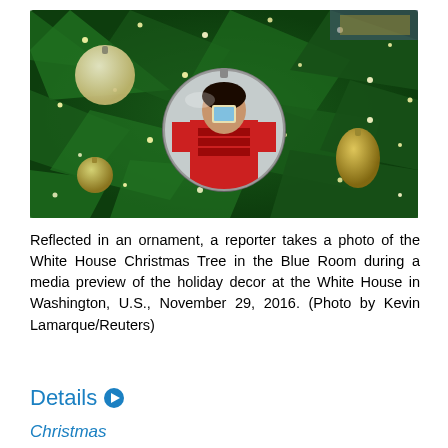[Figure (photo): A person photographed reflected in a large Christmas ornament on a decorated green Christmas tree with gold ornaments and white lights. The White House Blue Room Christmas Tree.]
Reflected in an ornament, a reporter takes a photo of the White House Christmas Tree in the Blue Room during a media preview of the holiday decor at the White House in Washington, U.S., November 29, 2016. (Photo by Kevin Lamarque/Reuters)
Details
Christmas